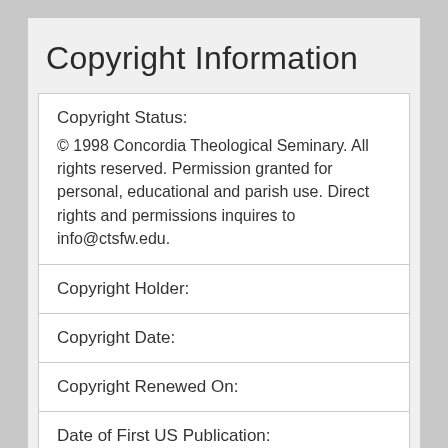Copyright Information
| Copyright Status: | © 1998 Concordia Theological Seminary. All rights reserved. Permission granted for personal, educational and parish use. Direct rights and permissions inquires to info@ctsfw.edu. |
| Copyright Holder: |  |
| Copyright Date: |  |
| Copyright Renewed On: |  |
| Date of First US Publication: |  |
| Date of US Copyright Renewal: |  |